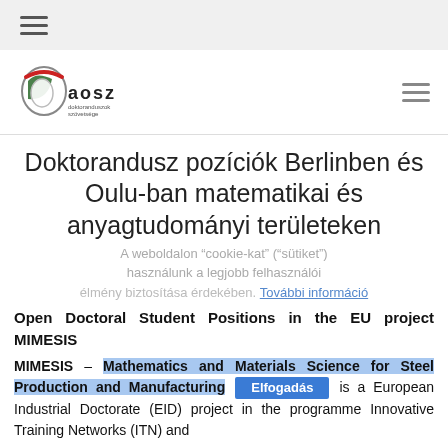☰ (hamburger menu top bar)
[Figure (logo): AOSZ logo with red-green circular emblem and text 'aosz doktoranduszok szövetsége']
Doktorandusz pozíciók Berlinben és Oulu-ban matematikai és anyagtudományi területeken
A weboldalon "cookie-kat" ("sütiket") használunk a legjobb felhasználói élmény biztosítása érdekében. További információ
Open Doctoral Student Positions in the EU project MIMESIS
MIMESIS – Mathematics and Materials Science for Steel Production and Manufacturing is a European Industrial Doctorate (EID) project in the programme Innovative Training Networks (ITN) and